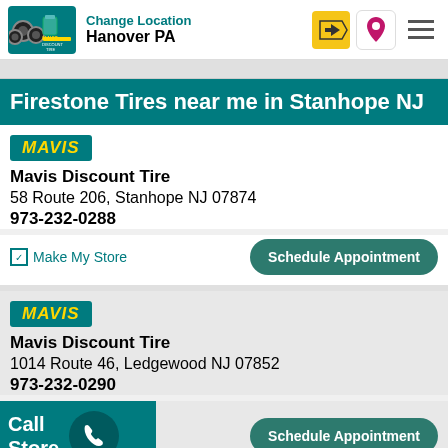Change Location Hanover PA
Firestone Tires near me in Stanhope NJ
Mavis Discount Tire
58 Route 206, Stanhope NJ 07874
973-232-0288
Make My Store | Schedule Appointment
Mavis Discount Tire
1014 Route 46, Ledgewood NJ 07852
973-232-0290
Schedule Appointment
Call Store